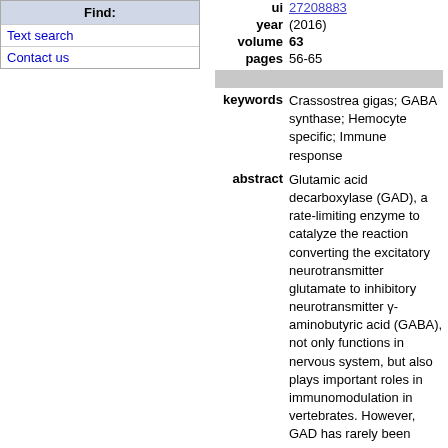Find:
Text search
Contact us
ui 27208883
year (2016)
volume 63
pages 56-65
keywords Crassostrea gigas; GABA synthase; Hemocyte specific; Immune response
abstract Glutamic acid decarboxylase (GAD), a rate-limiting enzyme to catalyze the reaction converting the excitatory neurotransmitter glutamate to inhibitory neurotransmitter γ-aminobutyric acid (GABA), not only functions in nervous system, but also plays important roles in immunomodulation in vertebrates. However, GAD has rarely been reported in invertebrates, and never in molluscs. In the present study, one GAD homologue (designed as CgGAD) was identified from Pacific oyster Crassostrea gigas. The full length cDNA of CgGAD was 1689 bp encoding a polypeptide of 562 amino acids containing a conserved pyridoxal-dependent decarboxylase domain. CgGAD